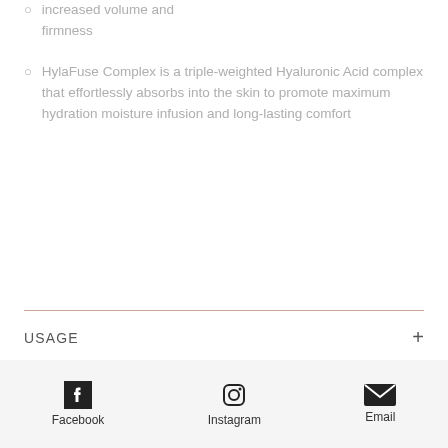increased volume and firmness
HylaFuse Complex is a triple-weighted Hyaluronic Acid complex that effortlessly absorbs into the skin to promote maximum hydration moisture infusion and long-lasting comfort
USAGE
SUITABLE FOR
Facebook  Instagram  Email